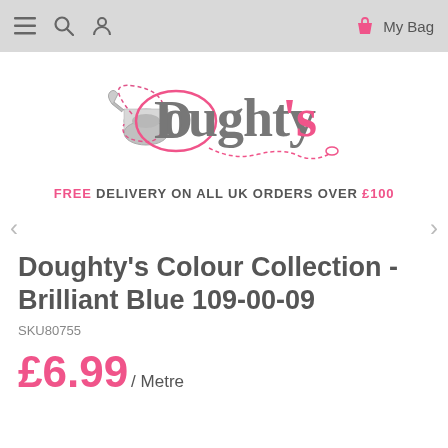≡  🔍  👤   My Bag
[Figure (logo): Doughty's fabric store logo — a spool of thread with pink cursive script and dashed stitching line forming an oval]
FREE DELIVERY ON ALL UK ORDERS OVER £100
Doughty's Colour Collection - Brilliant Blue 109-00-09
SKU80755
£6.99 / Metre